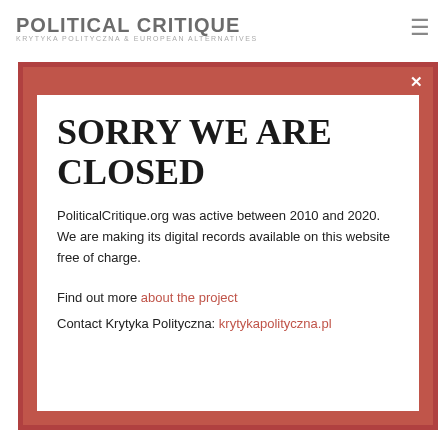POLITICAL CRITIQUE KRYTYKA POLITYCZNA & EUROPEAN ALTERNATIVES
and on other occasions. The day I was arrested, the law was passed, and I was going to had to go and show that I didn't go straight there, that it was passed in the discussion that there was passed parliamentary procedures. Finally, the very same day, another law weakened the independence of courts, which was also a reason to protest.
SORRY WE ARE CLOSED
PoliticalCritique.org was active between 2010 and 2020.  We are making its digital records available on this website free of charge.
Find out more about the project
Contact Krytyka Polityczna: krytykapolityczna.pl